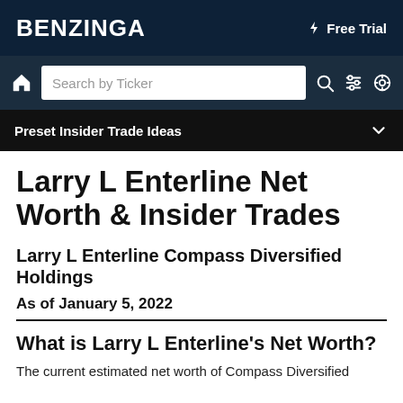BENZINGA   ⚡ Free Trial
🏠  Search by Ticker  🔍  ⫼  ⚙
Preset Insider Trade Ideas  ∨
Larry L Enterline Net Worth & Insider Trades
Larry L Enterline Compass Diversified Holdings
As of January 5, 2022
What is Larry L Enterline's Net Worth?
The current estimated net worth of Compass Diversified